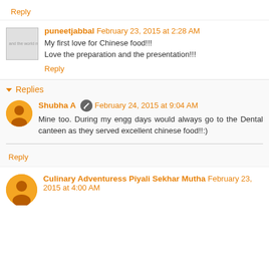Reply
puneetjabbal  February 23, 2015 at 2:28 AM
My first love for Chinese food!!!
Love the preparation and the presentation!!!
Reply
Replies
Shubha A  February 24, 2015 at 9:04 AM
Mine too. During my engg days would always go to the Dental canteen as they served excellent chinese food!!:)
Reply
Culinary Adventuress Piyali Sekhar Mutha  February 23, 2015 at 4:00 AM